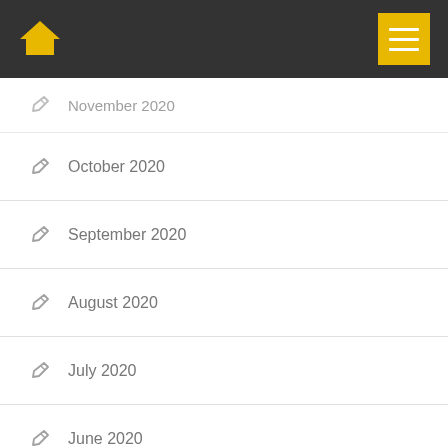Home menu
November 2020
October 2020
September 2020
August 2020
July 2020
June 2020
May 2020
April 2020
March 2020